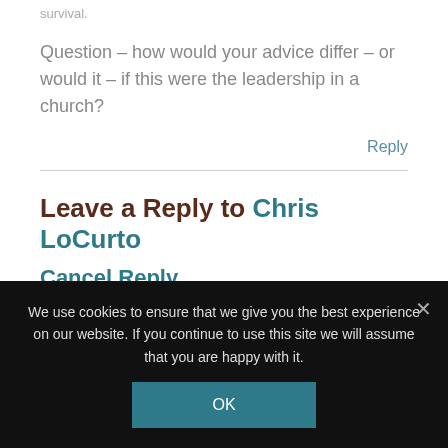survival.
Question – how would your advice differ – or would it – if this were the leadership in a church?
Reply
Leave a Reply to Chris LoCurto
Cancel Reply
We use cookies to ensure that we give you the best experience on our website. If you continue to use this site we will assume that you are happy with it.
OK